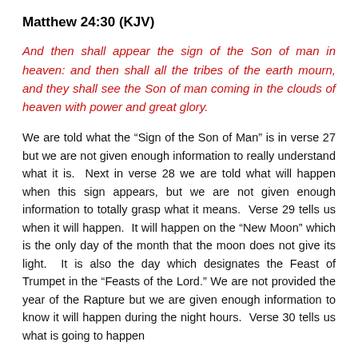Matthew 24:30 (KJV)
And then shall appear the sign of the Son of man in heaven: and then shall all the tribes of the earth mourn, and they shall see the Son of man coming in the clouds of heaven with power and great glory.
We are told what the “Sign of the Son of Man” is in verse 27 but we are not given enough information to really understand what it is. Next in verse 28 we are told what will happen when this sign appears, but we are not given enough information to totally grasp what it means. Verse 29 tells us when it will happen. It will happen on the “New Moon” which is the only day of the month that the moon does not give its light. It is also the day which designates the Feast of Trumpet in the “Feasts of the Lord.” We are not provided the year of the Rapture but we are given enough information to know it will happen during the night hours. Verse 30 tells us what is going to happen